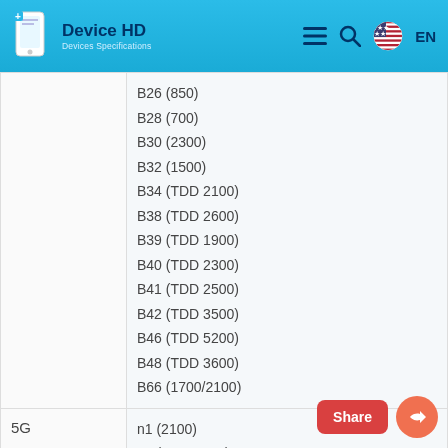Device HD — Devices Specifications | EN
|  | Bands |
| --- | --- |
|  | B26 (850)
B28 (700)
B30 (2300)
B32 (1500)
B34 (TDD 2100)
B38 (TDD 2600)
B39 (TDD 1900)
B40 (TDD 2300)
B41 (TDD 2500)
B42 (TDD 3500)
B46 (TDD 5200)
B48 (TDD 3600)
B66 (1700/2100) |
| 5G | n1 (2100)
n2 (1900 PCS)
n3 (1800)
n5 (850)
n7 (2600)
n8 (900) |